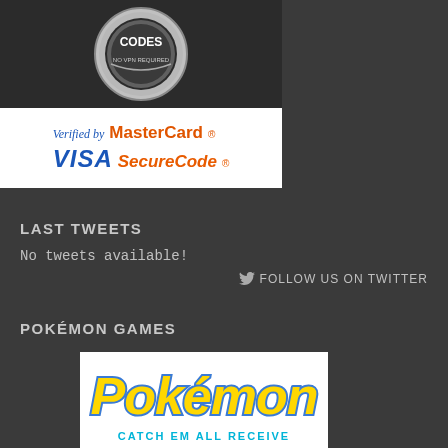[Figure (logo): Badge/seal graphic with text 'CODES' and 'NO VPN REQUIRED' on dark background]
[Figure (logo): Verified by VISA and MasterCard SecureCode logos on white background]
LAST TWEETS
No tweets available!
FOLLOW US ON TWITTER
POKÉMON GAMES
[Figure (logo): Pokémon logo with yellow text outlined in blue, with 'CATCH EM ALL RECEIVE' text partially visible at bottom]